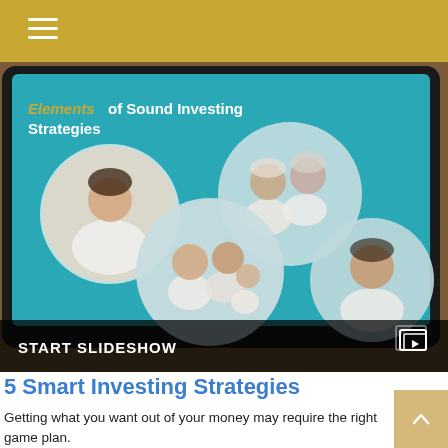[Figure (screenshot): A tablet displaying a slideshow titled 'Elements of Sound Investing Strategies' with circular photos of various people (a woman, an elderly couple, a family, a young man) on a teal background. Below the image is a dark bar reading 'START SLIDESHOW' with a slideshow icon.]
5 Smart Investing Strategies
Getting what you want out of your money may require the right game plan.